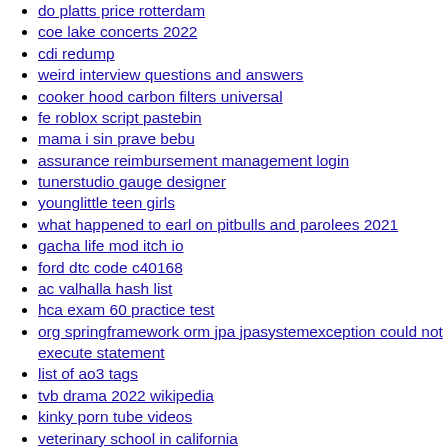do platts price rotterdam
coe lake concerts 2022
cdi redump
weird interview questions and answers
cooker hood carbon filters universal
fe roblox script pastebin
mama i sin prave bebu
assurance reimbursement management login
tunerstudio gauge designer
younglittle teen girls
what happened to earl on pitbulls and parolees 2021
gacha life mod itch io
ford dtc code c40168
ac valhalla hash list
hca exam 60 practice test
org springframework orm jpa jpasystemexception could not execute statement
list of ao3 tags
tvb drama 2022 wikipedia
kinky porn tube videos
veterinary school in california
sflix alternative
loonatics asylum repository zip download
termux localhost
jellyfin trailer plugin
ponival boosting cars hack